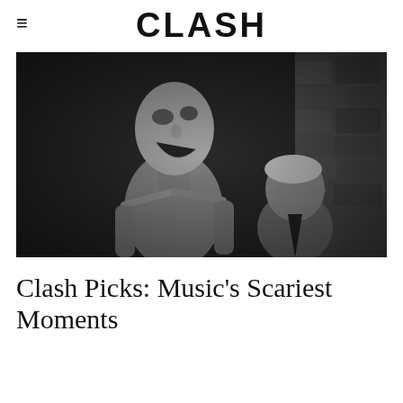≡  CLASH
[Figure (photo): Dark, desaturated horror-style image of a gaunt, pale, bald shirtless figure with mouth open wide facing an elderly person wearing glasses, against a rough stone/concrete wall background.]
Clash Picks: Music's Scariest Moments